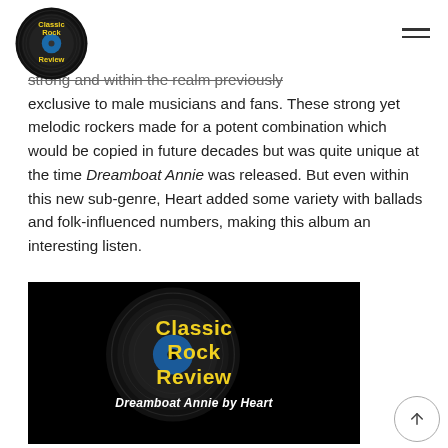Classic Rock Review
strong and within the realm previously exclusive to male musicians and fans. These strong yet melodic rockers made for a potent combination which would be copied in future decades but was quite unique at the time Dreamboat Annie was released. But even within this new sub-genre, Heart added some variety with ballads and folk-influenced numbers, making this album an interesting listen.
[Figure (logo): Classic Rock Review album image for Dreamboat Annie by Heart — black background with yellow Classic Rock Review text and vinyl record logo, subtitle Dreamboat Annie by Heart in white italic]